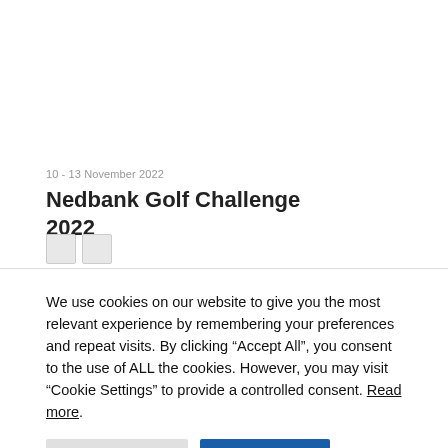10 - 13 November 2022
Nedbank Golf Challenge 2022
We use cookies on our website to give you the most relevant experience by remembering your preferences and repeat visits. By clicking “Accept All”, you consent to the use of ALL the cookies. However, you may visit “Cookie Settings” to provide a controlled consent. Read more.